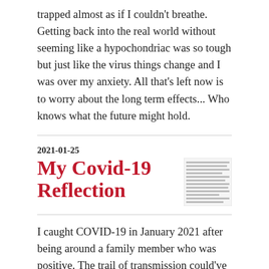trapped almost as if I couldn't breathe. Getting back into the real world without seeming like a hypochondriac was so tough but just like the virus things change and I was over my anxiety. All that's left now is to worry about the long term effects... Who knows what the future might hold.
2021-01-25
My Covid-19 Reflection
[Figure (screenshot): Small thumbnail image of a text article, shown as a small inset document preview in the top-right corner of the article listing.]
I caught COVID-19 in January 2021 after being around a family member who was positive. The trail of transmission could've been my aunt to my cousins to my mother then to me and my brother but it is still unclear. I firstly got a headache one night then went to bed. I woke and felt my throat feeling tight and dry and had a very bad headache with congestion, fever